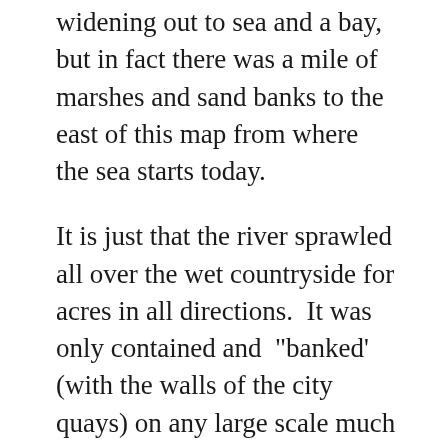widening out to sea and a bay, but in fact there was a mile of marshes and sand banks to the east of this map from where the sea starts today.
It is just that the river sprawled all over the wet countryside for acres in all directions.  It was only contained and  "banked' (with the walls of the city quays) on any large scale much later, from the 17th century, (notably in the reign of the Irish Viceroy James Duke of Ormonde, from the Butler family of Kilkenny)
You can also see the River Poddle on the map. The Poddle today is largely curveted over (buried underground)   But it was vital to the old livelihood and early economy of Dublin,